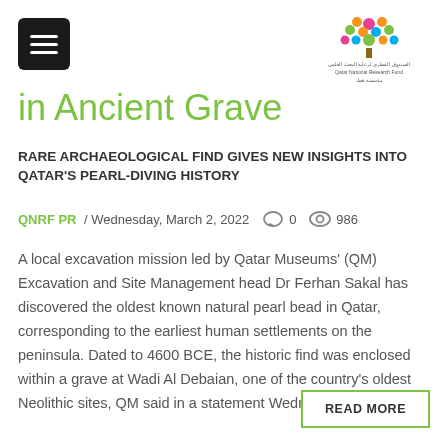[Figure (logo): Qatar National Research Fund logo — colorful tree and Arabic/English text]
in Ancient Grave
RARE ARCHAEOLOGICAL FIND GIVES NEW INSIGHTS INTO QATAR'S PEARL-DIVING HISTORY
QNRF PR / Wednesday, March 2, 2022   0   986
A local excavation mission led by Qatar Museums' (QM) Excavation and Site Management head Dr Ferhan Sakal has discovered the oldest known natural pearl bead in Qatar, corresponding to the earliest human settlements on the peninsula. Dated to 4600 BCE, the historic find was enclosed within a grave at Wadi Al Debaian, one of the country's oldest Neolithic sites, QM said in a statement Wednesday.
READ MORE